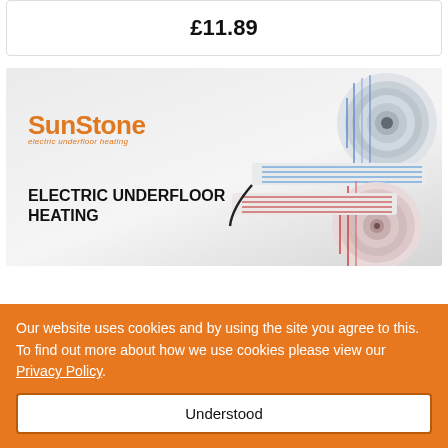£11.89
[Figure (photo): SunStone electric underfloor heating banner showing rolled heating mat products on a light grey background, with the SunStone logo in orange and the text ELECTRIC UNDERFLOOR HEATING in bold black]
Our website uses cookies and by using the site you agree to this. To find out more about how we use cookies please view our Privacy Policy.
Understood